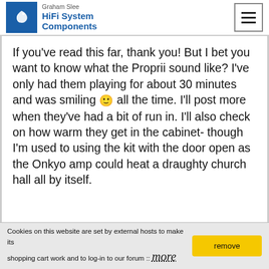Graham Slee HiFi System Components
If you've read this far, thank you! But I bet you want to know what the Proprii sound like? I've only had them playing for about 30 minutes and was smiling 🙂 all the time. I'll post more when they've had a bit of run in. I'll also check on how warm they get in the cabinet- though I'm used to using the kit with the door open as the Onkyo amp could heat a draughty church hall all by itself.
Cookies on this website are set by external hosts to make its shopping cart work and to log-in to our forum :: more